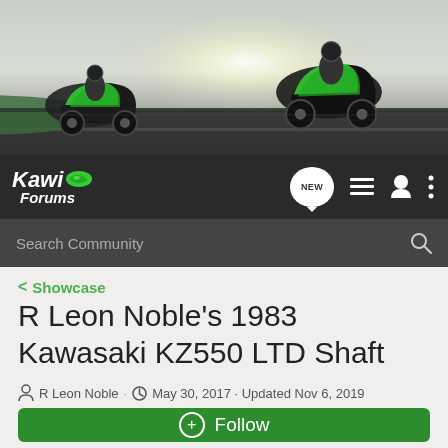[Figure (photo): Kawasaki motorcycles racing on a track, header banner for KawiForums website]
Kawi Forums — navigation bar with NEW button, list icon, user icon, and menu icon
Search Community
< Showcase
R Leon Noble's 1983 Kawasaki KZ550 LTD Shaft
R Leon Noble · May 30, 2017 · Updated Nov 6, 2019
+ Follow